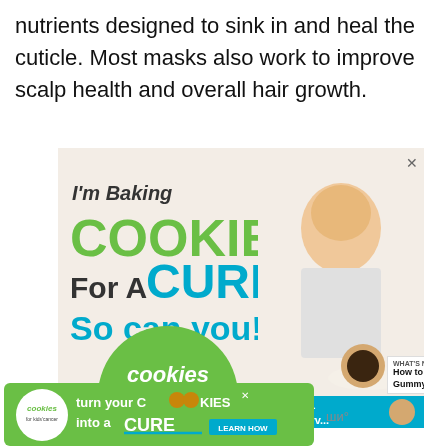nutrients designed to sink in and heal the cuticle. Most masks also work to improve scalp health and overall hair growth.
[Figure (illustration): Advertisement for 'Cookies for Kids Cancer' charity. Features a smiling young blonde girl holding a plate of cookies. Text reads: I'm Baking COOKIES For A CURE So can you! with green circle logo for cookies for kids cancer. Teal bar at bottom shows Haldora, 11 Cancer Sur[vivor]. Side panel shows heart and share buttons, and WHAT'S NEXT: How to Fix Gummy Hair...]
[Figure (illustration): Bottom banner advertisement for cookies for kids cancer: 'turn your COOKIES into a CURE LEARN HOW' on green background with white circle logo.]